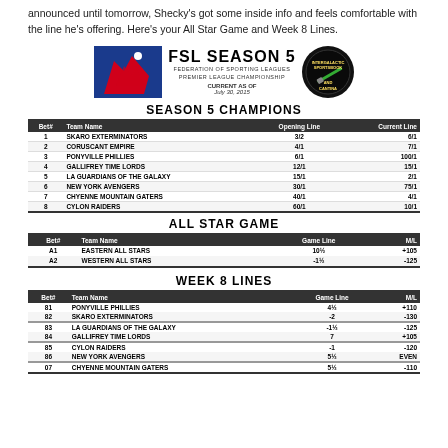announced until tomorrow, Shecky's got some inside info and feels comfortable with the line he's offering. Here's your All Star Game and Week 8 Lines.
[Figure (logo): FSL Season 5 Federation of Sporting Leagues Premier League Championship logo with horse graphic and Intergalactic Sportsbook and Cantina badge]
SEASON 5 CHAMPIONS
| Bet# | Team Name | Opening Line | Current Line |
| --- | --- | --- | --- |
| 1 | SKARO EXTERMINATORS | 3/2 | 6/1 |
| 2 | CORUSCANT EMPIRE | 4/1 | 7/1 |
| 3 | PONYVILLE PHILLIES | 6/1 | 100/1 |
| 4 | GALLIFREY TIME LORDS | 12/1 | 15/1 |
| 5 | LA GUARDIANS OF THE GALAXY | 15/1 | 2/1 |
| 6 | NEW YORK AVENGERS | 30/1 | 75/1 |
| 7 | CHYENNE MOUNTAIN GATERS | 40/1 | 4/1 |
| 8 | CYLON RAIDERS | 60/1 | 10/1 |
ALL STAR GAME
| Bet# | Team Name | Game Line | M/L |
| --- | --- | --- | --- |
| A1 | EASTERN ALL STARS | 10½ | +105 |
| A2 | WESTERN ALL STARS | -1½ | -125 |
WEEK 8 LINES
| Bet# | Team Name | Game Line | M/L |
| --- | --- | --- | --- |
| 81 | PONYVILLE PHILLIES | 4½ | +110 |
| 82 | SKARO EXTERMINATORS | -2 | -130 |
| 83 | LA GUARDIANS OF THE GALAXY | -1½ | -125 |
| 84 | GALLIFREY TIME LORDS | 7 | +105 |
| 85 | CYLON RAIDERS | -1 | -120 |
| 86 | NEW YORK AVENGERS | 5½ | EVEN |
| 07 | CHYENNE MOUNTAIN GATERS | 5½ | -110 |